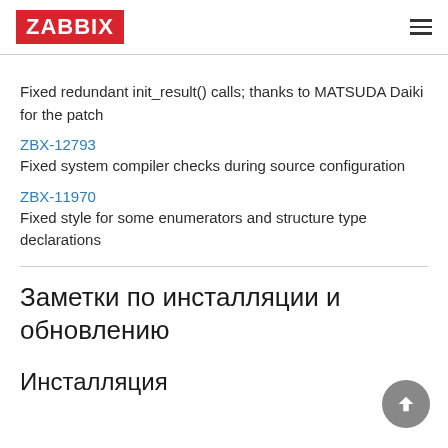ZABBIX
Fixed redundant init_result() calls; thanks to MATSUDA Daiki for the patch
ZBX-12793
Fixed system compiler checks during source configuration
ZBX-11970
Fixed style for some enumerators and structure type declarations
Заметки по инсталляции и обновлению
Инсталляция